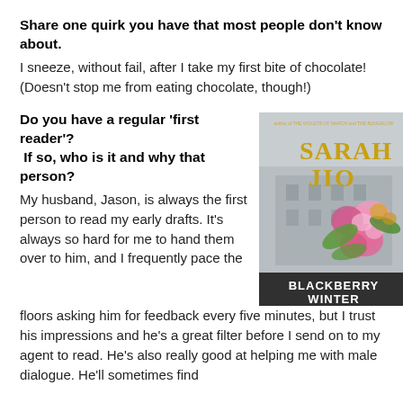Share one quirk you have that most people don't know about.
I sneeze, without fail, after I take my first bite of chocolate! (Doesn't stop me from eating chocolate, though!)
Do you have a regular 'first reader'? If so, who is it and why that person?
[Figure (illustration): Book cover of 'Blackberry Winter' by Sarah Jio, featuring pink flowers and a misty building in the background.]
My husband, Jason, is always the first person to read my early drafts. It's always so hard for me to hand them over to him, and I frequently pace the floors asking him for feedback every five minutes, but I trust his impressions and he's a great filter before I send on to my agent to read. He's also really good at helping me with male dialogue. He'll sometimes find